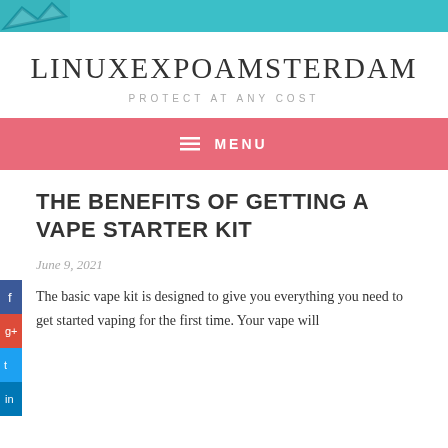LINUXEXPOAMSTERDAM – PROTECT AT ANY COST
LINUXEXPOAMSTERDAM
PROTECT AT ANY COST
≡ MENU
THE BENEFITS OF GETTING A VAPE STARTER KIT
June 9, 2021
The basic vape kit is designed to give you everything you need to get started vaping for the first time. Your vape will